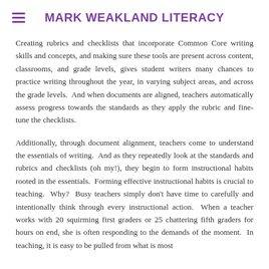MARK WEAKLAND LITERACY
Creating rubrics and checklists that incorporate Common Core writing skills and concepts, and making sure these tools are present across content, classrooms, and grade levels, gives student writers many chances to practice writing throughout the year, in varying subject areas, and across the grade levels.  And when documents are aligned, teachers automatically assess progress towards the standards as they apply the rubric and fine-tune the checklists.
Additionally, through document alignment, teachers come to understand the essentials of writing.  And as they repeatedly look at the standards and rubrics and checklists (oh my!), they begin to form instructional habits rooted in the essentials.  Forming effective instructional habits is crucial to teaching.  Why?  Busy teachers simply don't have time to carefully and intentionally think through every instructional action.  When a teacher works with 20 squirming first graders or 25 chattering fifth graders for hours on end, she is often responding to the demands of the moment.  In teaching, it is easy to be pulled from what is most